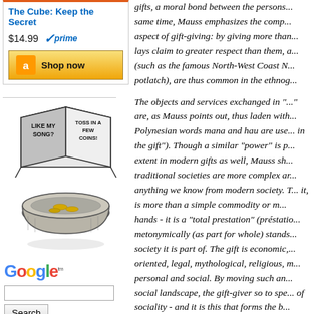[Figure (screenshot): Amazon advertisement box for 'The Cube: Keep the Secret' priced at $14.99 with Prime badge and Shop now button]
[Figure (illustration): Hand-drawn illustration of a hat/busker tin with a sign reading 'LIKE MY SONG? TOSS IN A FEW COINS!']
[Figure (screenshot): Google search widget with logo, text input field, and Search button]
gifts, a moral bond between the persons... same time, Mauss emphasizes the comp... aspect of gift-giving: by giving more than... lays claim to greater respect than them, a... (such as the famous North-West Coast N... potlatch), are thus common in the ethnog...
The objects and services exchanged in '...' are, as Mauss points out, thus laden with... Polynesian words mana and hau are use... in the gift'). Though a similar 'power' is p... extent in modern gifts as well, Mauss sh... traditional societies are more complex ar... anything we know from modern society. T... it, is more than a simple commodity or m... hands - it is a 'total prestation' (préstatio... metonymically (as part for whole) stands... society it is part of. The gift is economic,... oriented, legal, mythological, religious, m... personal and social. By moving such an... social landscape, the gift-giver so to spe... of sociality - and it is this that forms the b...
Let's try a simple substitution: "The link i... kinship oriented, legal, mythological, reli...